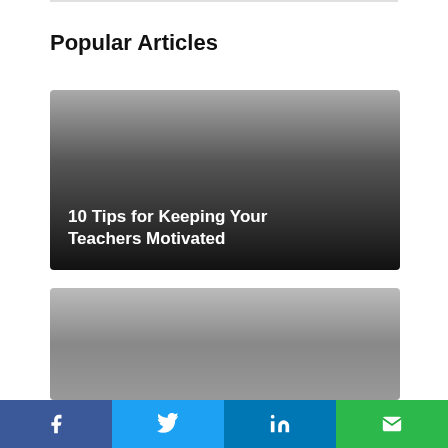Popular Articles
[Figure (photo): Dark gradient image card with white bold text overlay reading '10 Tips for Keeping Your Teachers Motivated']
[Figure (photo): Gray gradient image card, second popular article (content partially visible)]
Social share bar with Facebook, Twitter, LinkedIn, and Email buttons